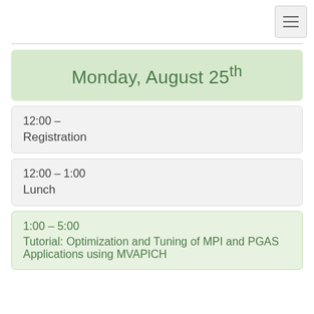Monday, August 25th
12:00 –
Registration
12:00 – 1:00
Lunch
1:00 – 5:00
Tutorial: Optimization and Tuning of MPI and PGAS Applications using MVAPICH